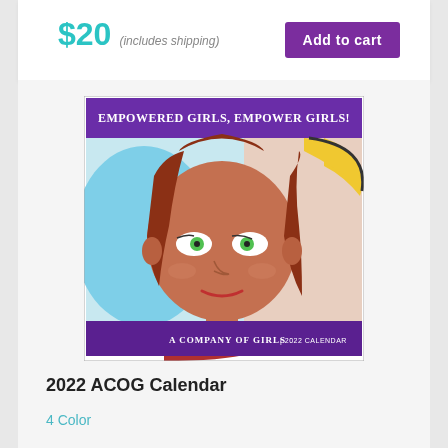$20 (includes shipping)
Add to cart
[Figure (illustration): 2022 ACOG Calendar cover featuring a stylized self-portrait of a girl with red hair and green eyes, on a purple background with text 'Empowered Girls, Empower Girls!' at the top and 'A Company of Girls | 2022 Calendar' at the bottom.]
2022 ACOG Calendar
4 Color
Enjoy beautiful self-portraits made by girls who have participated in our program in the past 25 years!